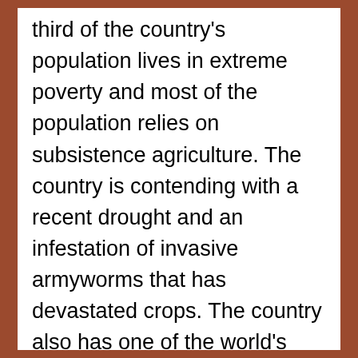third of the country's population lives in extreme poverty and most of the population relies on subsistence agriculture. The country is contending with a recent drought and an infestation of invasive armyworms that has devastated crops. The country also has one of the world's highest prevalence rates for H.I.V.